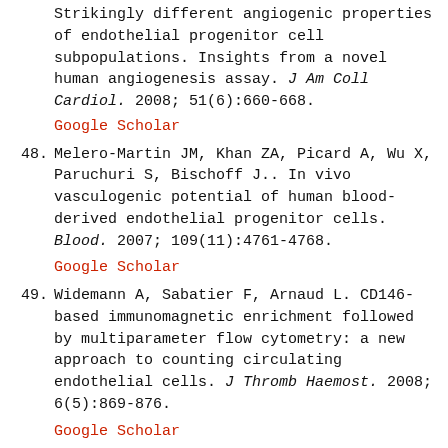Strikingly different angiogenic properties of endothelial progenitor cell subpopulations. Insights from a novel human angiogenesis assay. J Am Coll Cardiol. 2008; 51(6):660-668. Google Scholar
48. Melero-Martin JM, Khan ZA, Picard A, Wu X, Paruchuri S, Bischoff J.. In vivo vasculogenic potential of human blood-derived endothelial progenitor cells. Blood. 2007; 109(11):4761-4768. Google Scholar
49. Widemann A, Sabatier F, Arnaud L. CD146-based immunomagnetic enrichment followed by multiparameter flow cytometry: a new approach to counting circulating endothelial cells. J Thromb Haemost. 2008; 6(5):869-876. Google Scholar
50. Dignat-George F, Sampol J.. Circulating endothelial cells in vascular disorders: new insights into an old concept. Eur J Haematol